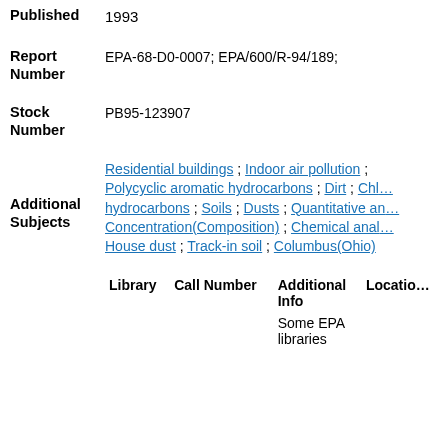1993
Published
Report Number
EPA-68-D0-0007; EPA/600/R-94/189;
Stock Number
PB95-123907
Additional Subjects
Residential buildings ; Indoor air pollution ; Polycyclic aromatic hydrocarbons ; Dirt ; Chlorinated hydrocarbons ; Soils ; Dusts ; Quantitative analysis ; Concentration(Composition) ; Chemical analysis ; House dust ; Track-in soil ; Columbus(Ohio)
| Library | Call Number | Additional Info | Location |
| --- | --- | --- | --- |
|  |  | Some EPA libraries |  |